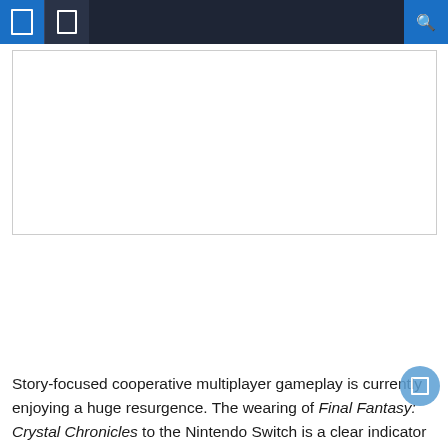navigation header with icons and search
[Figure (other): White rectangular image placeholder area with thin gray border]
Story-focused cooperative multiplayer gameplay is currently enjoying a huge resurgence. The wearing of Final Fantasy: Crystal Chronicles to the Nintendo Switch is a clear indicator...